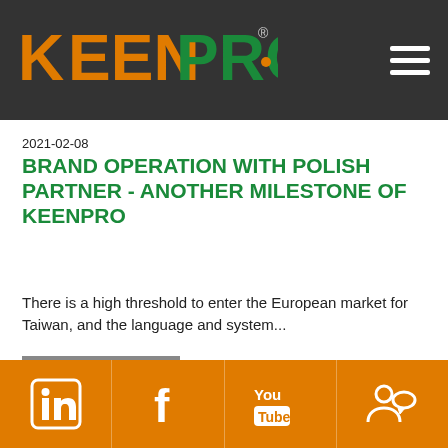KEENPRO (logo and navigation)
2021-02-08
BRAND OPERATION WITH POLISH PARTNER - ANOTHER MILESTONE OF KEENPRO
There is a high threshold to enter the European market for Taiwan, and the language and system...
READ MORE
[Figure (screenshot): Partial second article card with date starting 2021-02-04]
Social media links: LinkedIn, Facebook, YouTube, Contact